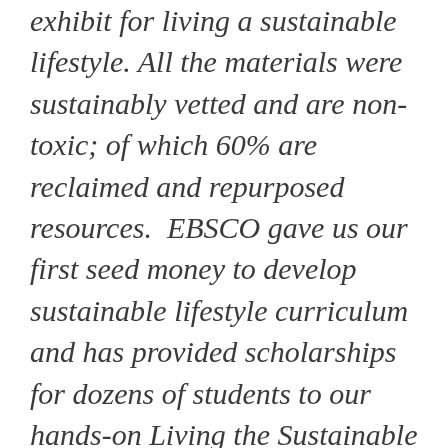exhibit for living a sustainable lifestyle. All the materials were sustainably vetted and are non-toxic; of which 60% are reclaimed and repurposed resources. EBSCO gave us our first seed money to develop sustainable lifestyle curriculum and has provided scholarships for dozens of students to our hands-on Living the Sustainable Tiny Life workshops since 2012. We are thrilled they will be helping us complete the project